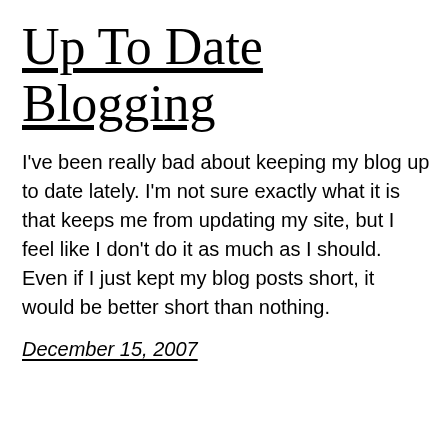Up To Date Blogging
I've been really bad about keeping my blog up to date lately. I'm not sure exactly what it is that keeps me from updating my site, but I feel like I don't do it as much as I should. Even if I just kept my blog posts short, it would be better short than nothing.
December 15, 2007